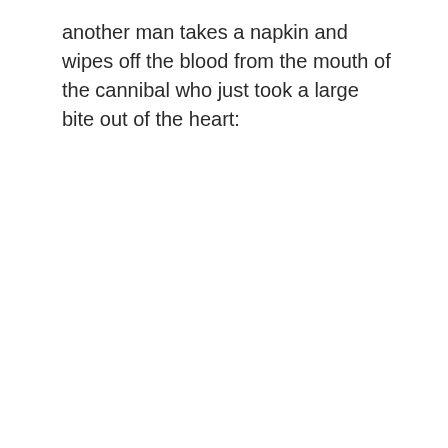another man takes a napkin and wipes off the blood from the mouth of the cannibal who just took a large bite out of the heart: